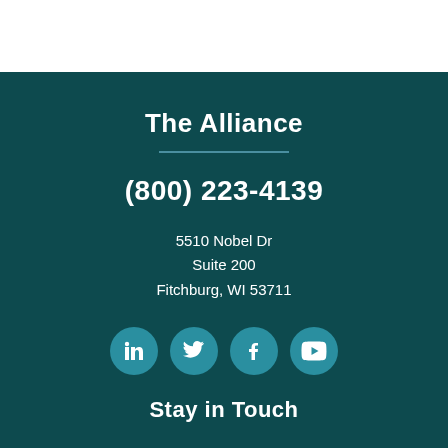The Alliance
(800) 223-4139
5510 Nobel Dr
Suite 200
Fitchburg, WI 53711
[Figure (infographic): Four social media icon circles: LinkedIn, Twitter, Facebook, YouTube]
Stay in Touch